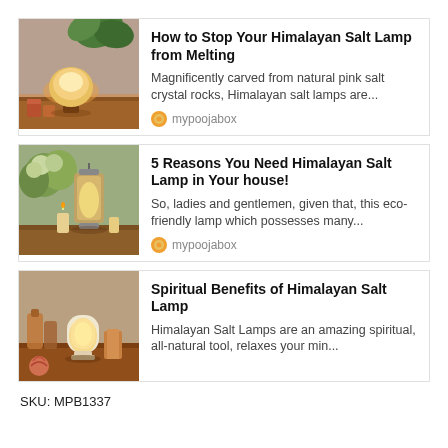[Figure (photo): Himalayan salt lamp glowing warm orange on a wooden surface with decorative items in background]
How to Stop Your Himalayan Salt Lamp from Melting
Magnificently carved from natural pink salt crystal rocks, Himalayan salt lamps are...
mypoojabox
[Figure (photo): Decorative lantern-style lamp with warm glow surrounded by candles and flowers]
5 Reasons You Need Himalayan Salt Lamp in Your house!
So, ladies and gentlemen, given that, this eco-friendly lamp which possesses many...
mypoojabox
[Figure (photo): White Himalayan salt lamp glowing on wooden surface with bottles and yarn in background]
Spiritual Benefits of Himalayan Salt Lamp
Himalayan Salt Lamps are an amazing spiritual, all-natural tool, relaxes your min...
SKU: MPB1337